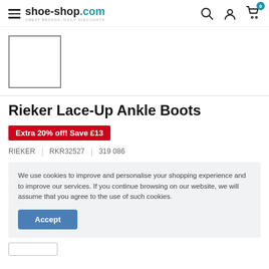shoe-shop.com — Great Brands. Daily Discounts.
[Figure (photo): Product thumbnail placeholder — empty white square with dark border]
Rieker Lace-Up Ankle Boots
Extra 20% off! Save £13
RIEKER | RKR32527 | 319 086
We use cookies to improve and personalise your shopping experience and to improve our services. If you continue browsing on our website, we will assume that you agree to the use of such cookies.
Accept